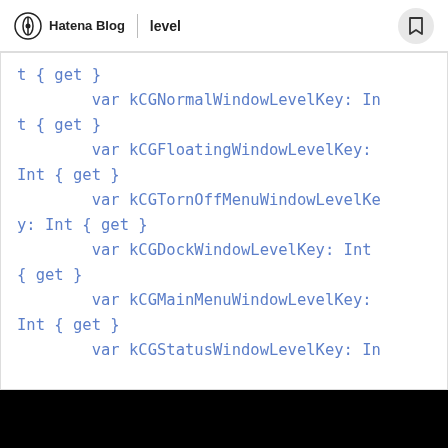Hatena Blog | level
t { get }
        var kCGNormalWindowLevelKey: Int { get }
        var kCGFloatingWindowLevelKey: Int { get }
        var kCGTornOffMenuWindowLevelKey: Int { get }
        var kCGDockWindowLevelKey: Int { get }
        var kCGMainMenuWindowLevelKey: Int { get }
        var kCGStatusWindowLevelKey: In
t { get }